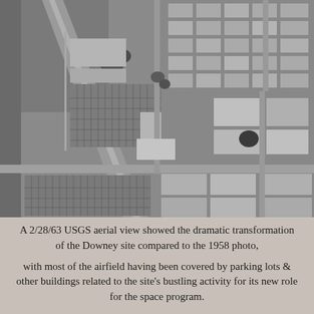[Figure (photo): Black and white USGS aerial photograph dated 2/28/63 showing the Downey site from above, revealing parking lots, buildings, roads, and urban development covering what was previously an airfield.]
A 2/28/63 USGS aerial view showed the dramatic transformation of the Downey site compared to the 1958 photo, with most of the airfield having been covered by parking lots & other buildings related to the site's bustling activity for its new role for the space program.